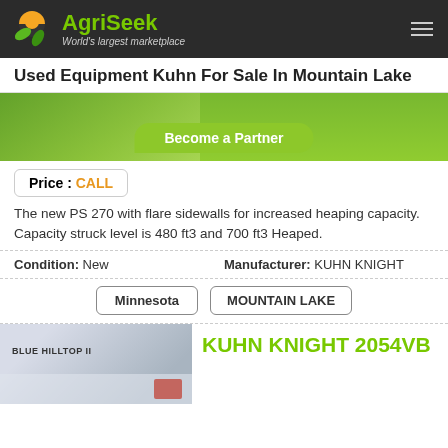AgriSeek — World's largest marketplace
Used Equipment Kuhn For Sale In Mountain Lake
[Figure (photo): Green banner with 'Become a Partner' button]
Price : CALL
The new PS 270 with flare sidewalls for increased heaping capacity. Capacity struck level is 480 ft3 and 700 ft3 Heaped.
Condition: New   Manufacturer: KUHN KNIGHT
Minnesota   MOUNTAIN LAKE
[Figure (photo): Blue Hilltop truck/equipment photo]
KUHN KNIGHT 2054VB